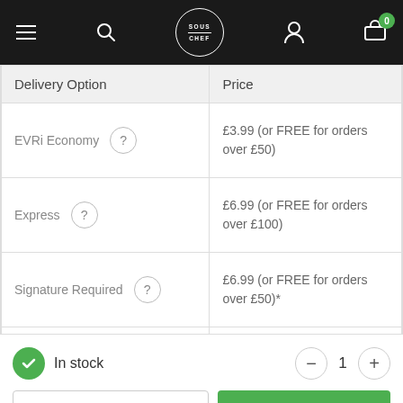[Figure (screenshot): Sous Chef website navigation bar with hamburger menu, search icon, logo, user icon, and basket with 0 badge]
| Delivery Option | Price |
| --- | --- |
| EVRi Economy ? | £3.99 (or FREE for orders over £50) |
| Express ? | £6.99 (or FREE for orders over £100) |
| Signature Required ? | £6.99 (or FREE for orders over £50)* |
In stock
24cm diameter
ADD TO BASKET